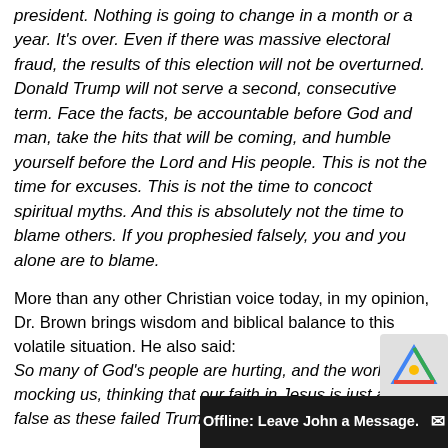president. Nothing is going to change in a month or a year. It's over. Even if there was massive electoral fraud, the results of this election will not be overturned. Donald Trump will not serve a second, consecutive term. Face the facts, be accountable before God and man, take the hits that will be coming, and humble yourself before the Lord and His people. This is not the time for excuses. This is not the time to concoct spiritual myths. And this is absolutely not the time to blame others. If you prophesied falsely, you and you alone are to blame.
More than any other Christian voice today, in my opinion, Dr. Brown brings wisdom and biblical balance to this volatile situation. He also said: So many of God's people are hurting, and the world is mocking us, thinking that our faith in Jesus is just as false as these failed Trump prophecies.
He's right. Leaders like Mario Murillo and Dr. Michael Brown are needed more than ever today when conspiracies and divisive Christians are multiplying every moment. Sadly I've heard Christians proudly declare they have stopped following Dr. because of his stance. I'm su too. Oh, and by the way, if the